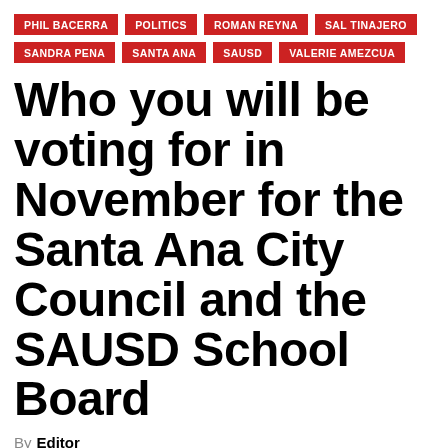PHIL BACERRA
POLITICS
ROMAN REYNA
SAL TINAJERO
SANDRA PENA
SANTA ANA
SAUSD
VALERIE AMEZCUA
Who you will be voting for in November for the Santa Ana City Council and the SAUSD School Board
By Editor
AUG 11, 2018   2018 elections, Alfonso Ceja-Villa, Angie Cano, art pedroza, ceci iglesias, cecilia aguinaga, Irma Macias, john palacio, Michele Martinez, miguel pulido,